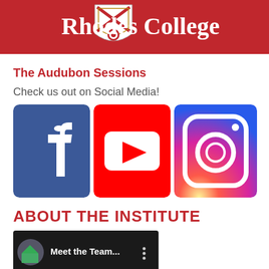[Figure (logo): Rhodes College header with shield logo and institution name in white serif text on red background]
The Audubon Sessions
Check us out on Social Media!
[Figure (infographic): Three social media icons side by side: Facebook (blue with white f), YouTube (red with white play button), Instagram (gradient purple-red-orange with camera icon)]
ABOUT THE INSTITUTE
[Figure (screenshot): YouTube video thumbnail showing 'Meet the Team...' with a circular preview image and three-dot menu icon on dark background]